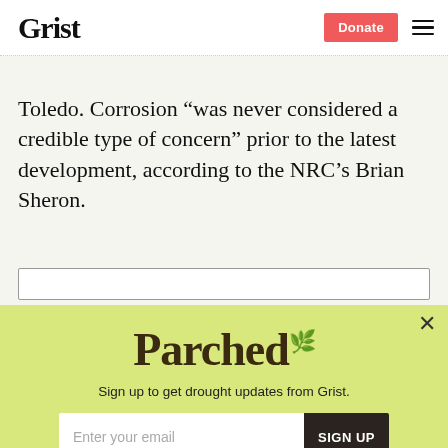Grist | Donate
Toledo. Corrosion “was never considered a credible type of concern” prior to the latest development, according to the NRC’s Brian Sheron.
[Figure (screenshot): Parched newsletter signup popup with yellow-green background. Contains the 'Parched' logo in dark brown serif font, subtitle 'Sign up to get drought updates from Grist.', an email input field with placeholder 'Enter your email', a dark 'SIGN UP' button, a close X button, and a 'No thanks' link.]